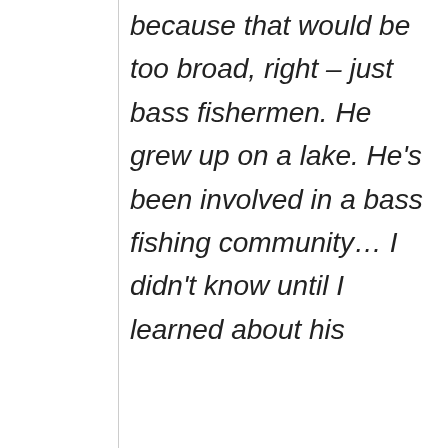because that would be too broad, right – just bass fishermen. He grew up on a lake. He's been involved in a bass fishing community… I didn't know until I learned about his